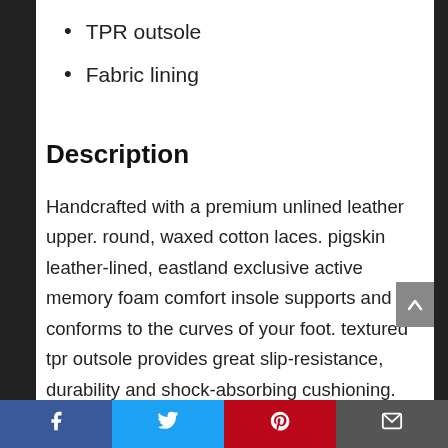TPR outsole
Fabric lining
Description
Handcrafted with a premium unlined leather upper. round, waxed cotton laces. pigskin leather-lined, eastland exclusive active memory foam comfort insole supports and conforms to the curves of your foot. textured tpr outsole provides great slip-resistance, durability and shock-absorbing cushioning.
Facebook | Twitter | Pinterest | Email